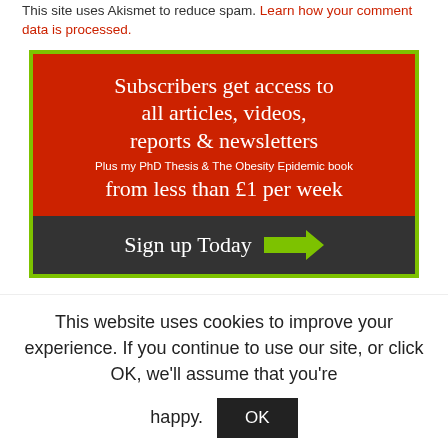This site uses Akismet to reduce spam. Learn how your comment data is processed.
[Figure (infographic): Red and dark subscription banner: 'Subscribers get access to all articles, videos, reports & newsletters / Plus my PhD Thesis & The Obesity Epidemic book / from less than £1 per week / Sign up Today →']
This website uses cookies to improve your experience. If you continue to use our site, or click OK, we'll assume that you're happy. OK